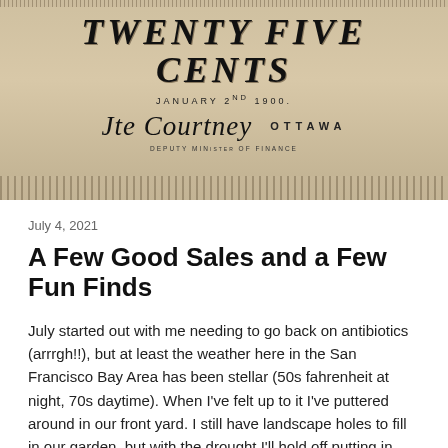[Figure (photo): Close-up photograph of an antique Canadian 'Twenty Five Cents' banknote dated January 2nd 1900, showing ornate lettering, a signature, the word OTTAWA, and 'Deputy Minister of Finance' text, with decorative geometric border patterns.]
July 4, 2021
A Few Good Sales and a Few Fun Finds
July started out with me needing to go back on antibiotics (arrrgh!!), but at least the weather here in the San Francisco Bay Area has been stellar (50s fahrenheit at night, 70s daytime). When I’ve felt up to it I’ve puttered around in our front yard. I still have landscape holes to fill in our garden, but with the drought I’ll hold off putting in new plants.
A Few Good Sale…